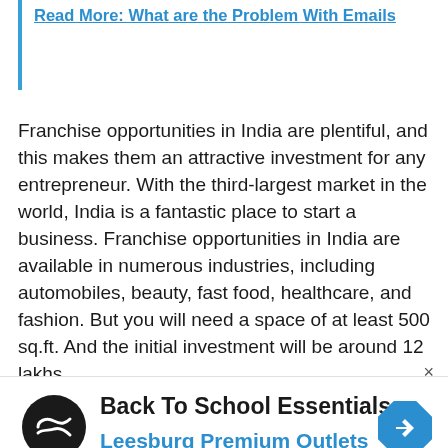Read More: What are the Problem With Emails
Franchise opportunities in India are plentiful, and this makes them an attractive investment for any entrepreneur. With the third-largest market in the world, India is a fantastic place to start a business. Franchise opportunities in India are available in numerous industries, including automobiles, beauty, fast food, healthcare, and fashion. But you will need a space of at least 500 sq.ft. And the initial investment will be around 12 lakhs.
[Figure (other): Advertisement banner for Back To School Essentials at Leesburg Premium Outlets with a circular logo and blue direction sign icon]